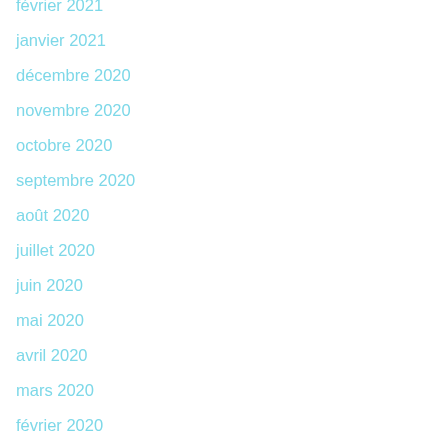février 2021
janvier 2021
décembre 2020
novembre 2020
octobre 2020
septembre 2020
août 2020
juillet 2020
juin 2020
mai 2020
avril 2020
mars 2020
février 2020
janvier 2020